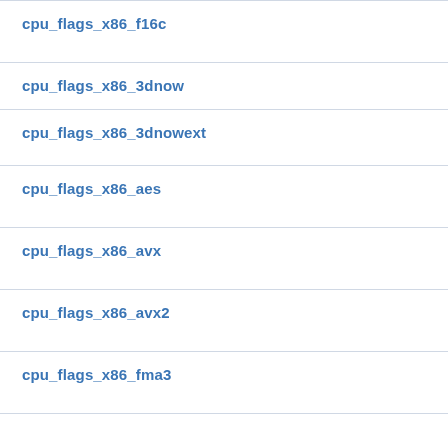cpu_flags_x86_f16c
cpu_flags_x86_3dnow
cpu_flags_x86_3dnowext
cpu_flags_x86_aes
cpu_flags_x86_avx
cpu_flags_x86_avx2
cpu_flags_x86_fma3